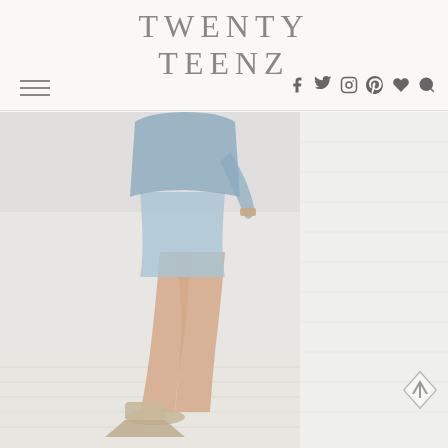TWENTY TEENZ
[Figure (photo): Fashion blog header with logo 'TWENTY TEENZ', hamburger menu icon, and social media icons (Facebook, Twitter, Instagram, Pinterest, heart, search). Below is a photo of a person in a denim outfit with wedge shoes leaning against a white brick wall.]